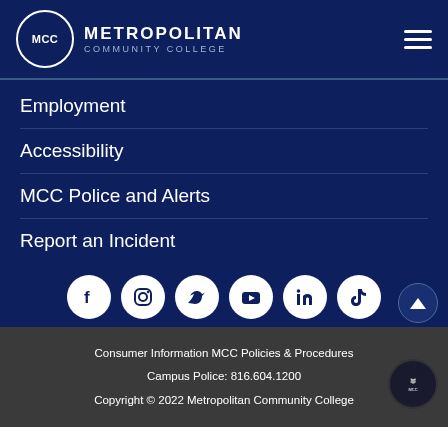[Figure (logo): Metropolitan Community College logo with MCC circular emblem and text]
Employment
Accessibility
MCC Police and Alerts
Report an Incident
[Figure (infographic): Social media icons: Facebook, Instagram, Twitter, YouTube, LinkedIn, TikTok]
Consumer Information MCC Policies & Procedures
Campus Police: 816.604.1200
Copyright © 2022 Metropolitan Community College